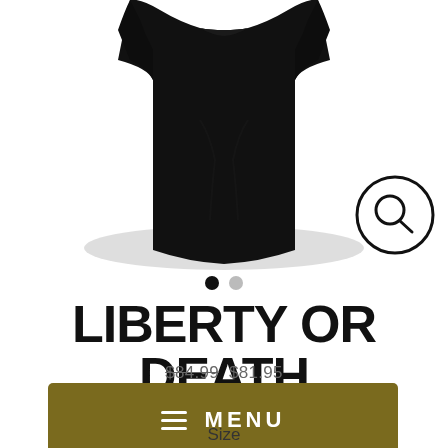[Figure (photo): Black folded t-shirt product photo on white background with a zoom/magnify button icon in the bottom right corner]
LIBERTY OR DEATH
$84.99  $81.95
≡ MENU
Size